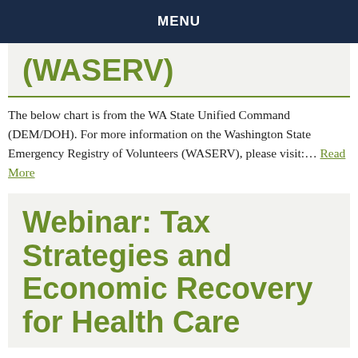MENU
(WASERV)
The below chart is from the WA State Unified Command (DEM/DOH). For more information on the Washington State Emergency Registry of Volunteers (WASERV), please visit:… Read More
Webinar: Tax Strategies and Economic Recovery for Health Care